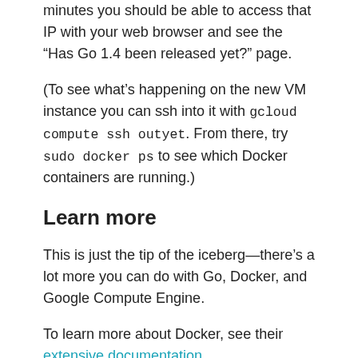minutes you should be able to access that IP with your web browser and see the “Has Go 1.4 been released yet?” page.
(To see what’s happening on the new VM instance you can ssh into it with gcloud compute ssh outyet. From there, try sudo docker ps to see which Docker containers are running.)
Learn more
This is just the tip of the iceberg—there’s a lot more you can do with Go, Docker, and Google Compute Engine.
To learn more about Docker, see their extensive documentation.
To learn more about Docker and Go, see the official golang Docker Hub repository and Kelsey Hightower’s Optimizing Docker Images for Static Go Binaries.
To learn more about Docker and Google Compute...